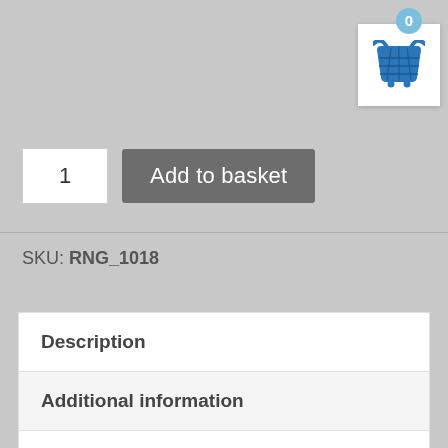[Figure (illustration): Shopping basket/cart icon in blue with a badge showing 0, in a white square box, top right corner]
1
Add to basket
SKU: RNG_1018
Description
Additional information
Return & Refund Policy
Shipping Policy
Reviews (3)